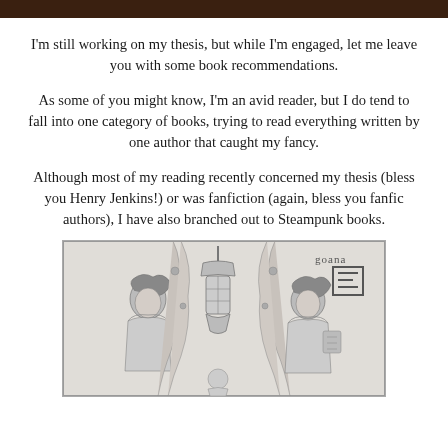[Figure (photo): Dark brown/black image strip at top of page, partially cropped photo]
I'm still working on my thesis, but while I'm engaged, let me leave you with some book recommendations.
As some of you might know, I'm an avid reader, but I do tend to fall into one category of books, trying to read everything written by one author that caught my fancy.
Although most of my reading recently concerned my thesis (bless you Henry Jenkins!) or was fanfiction (again, bless you fanfic authors), I have also branched out to Steampunk books.
[Figure (illustration): Black and white vintage illustration showing two Victorian-era figures (women with elaborate hairstyles) flanking an ornate lantern with decorative drapery, with 'goana' text and a square logo in upper right]